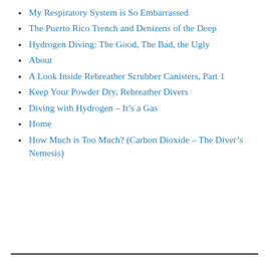My Respiratory System is So Embarrassed
The Puerto Rico Trench and Denizens of the Deep
Hydrogen Diving: The Good, The Bad, the Ugly
About
A Look Inside Rebreather Scrubber Canisters, Part 1
Keep Your Powder Dry, Rebreather Divers
Diving with Hydrogen – It's a Gas
Home
How Much is Too Much? (Carbon Dioxide – The Diver's Nemesis)